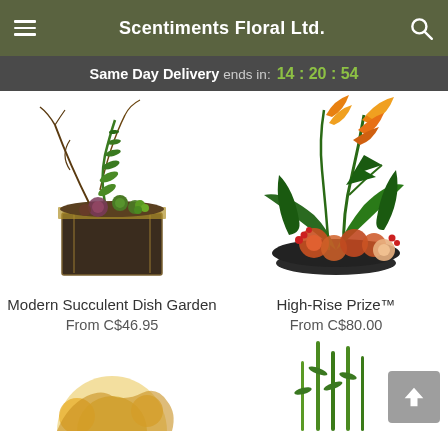Scentiments Floral Ltd.
Same Day Delivery ends in: 14 : 20 : 54
[Figure (photo): Modern Succulent Dish Garden floral arrangement in a dark square wooden box with green succulents and twigs]
Modern Succulent Dish Garden
From C$46.95
[Figure (photo): High-Rise Prize tropical floral arrangement with birds of paradise and orange lilies in a dark bowl]
High-Rise Prize™
From C$80.00
[Figure (photo): Partial view of a floral product at the bottom left, partially cropped]
[Figure (photo): Partial view of a tall green floral arrangement at the bottom right, partially cropped]